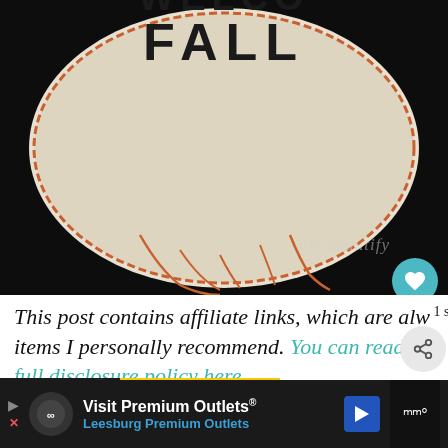[Figure (photo): Close-up photograph of a burlap/fabric sign with 'FALL' text printed in black on a white/cream fabric background with orange decorative stitching border, against a dark background. Watermark reads 'diy beautify'.]
This post contains affiliate links, which are alw 1 s items I personally recommend. You can read m full disclosure policy here.
[Figure (photo): Partial view of people in yellow and dark clothing, appears to be an advertisement image. Shows 'ad council' badge overlay.]
[Figure (photo): WHAT'S NEXT arrow label with Fall Decor thumbnail image]
Visit Premium Outlets® Leesburg Premium Outlets